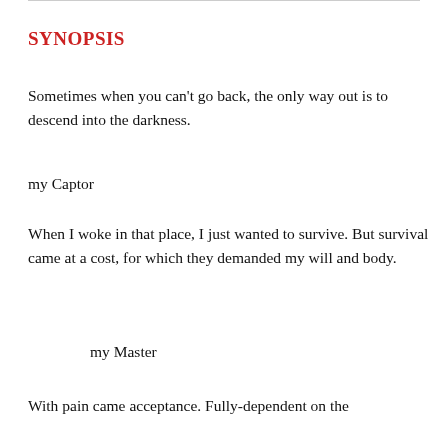SYNOPSIS
Sometimes when you can't go back, the only way out is to descend into the darkness.
my Captor
When I woke in that place, I just wanted to survive. But survival came at a cost, for which they demanded my will and body.
my Master
With pain came acceptance. Fully-dependent on the